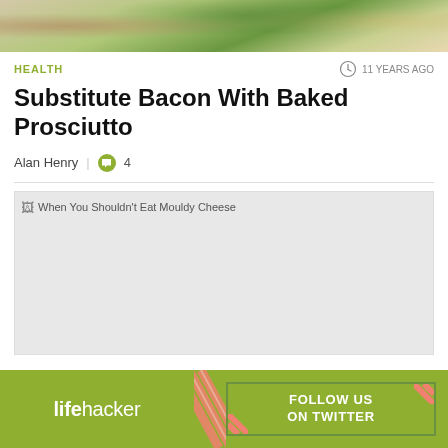[Figure (photo): Top portion of a food photo showing colorful ingredients including greens and other items on a plate or surface]
HEALTH
11 YEARS AGO
Substitute Bacon With Baked Prosciutto
Alan Henry  |  4
[Figure (photo): Broken/unloaded image placeholder with alt text: When You Shouldn't Eat Mouldy Cheese]
[Figure (other): Lifehacker advertisement banner with logo on left and FOLLOW US ON TWITTER button on right, green background with diagonal pattern divider]